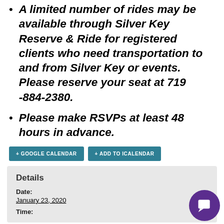A limited number of rides may be available through Silver Key Reserve & Ride for registered clients who need transportation to and from Silver Key or events. Please reserve your seat at 719 -884-2380.
Please make RSVPs at least 48 hours in advance.
+ GOOGLE CALENDAR  + ADD TO ICALENDAR
Details
Date:
January 23, 2020
Time: